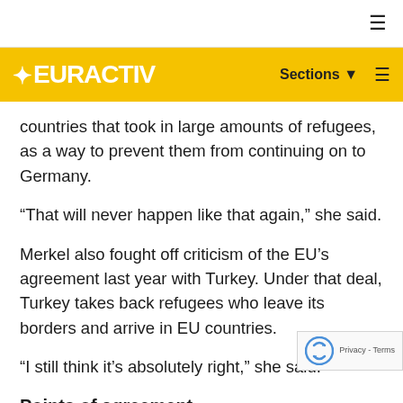EURACTIV — Sections (hamburger menu)
countries that took in large amounts of refugees, as a way to prevent them from continuing on to Germany.
“That will never happen like that again,” she said.
Merkel also fought off criticism of the EU’s agreement last year with Turkey. Under that deal, Turkey takes back refugees who leave its borders and arrive in EU countries.
“I still think it’s absolutely right,” she said.
Points of agreement
Aside from the more heated debates over Turke… migration, the two candidates often offered polite…